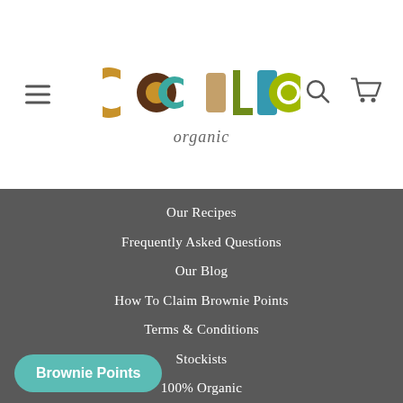[Figure (logo): Cocoa Loco Organic logo with colorful geometric letters in brown, teal, olive and red tones, with 'organic' in cursive script below]
Our Recipes
Frequently Asked Questions
Our Blog
How To Claim Brownie Points
Terms & Conditions
Stockists
100% Organic
Fairtrade
Trade Sales
Contact Us